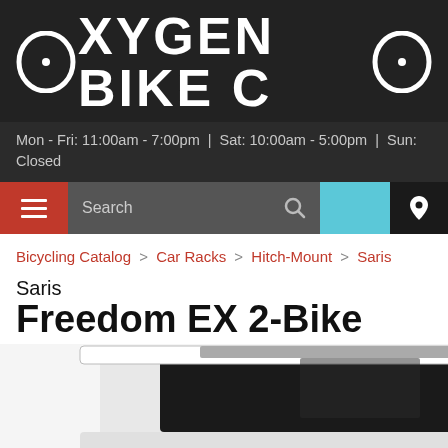OXYGEN BIKE CO
Mon - Fri: 11:00am - 7:00pm | Sat: 10:00am - 5:00pm | Sun: Closed
[Figure (screenshot): Navigation bar with hamburger menu (red), search bar (dark gray), blue box, and location pin button (black)]
Bicycling Catalog > Car Racks > Hitch-Mount > Saris
Saris Freedom EX 2-Bike
[Figure (photo): Partial photo of a white SUV/vehicle from the rear with a bike rack mounted on the hitch, cropped at bottom of page]